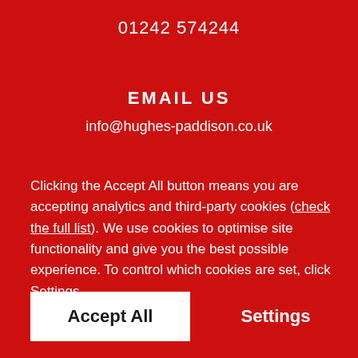01242 574244
EMAIL US
info@hughes-paddison.co.uk
Clicking the Accept All button means you are accepting analytics and third-party cookies (check the full list). We use cookies to optimise site functionality and give you the best possible experience. To control which cookies are set, click Settings.
Accept All
Settings